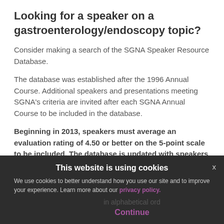Looking for a speaker on a gastroenterology/endoscopy topic?
Consider making a search of the SGNA Speaker Resource Database.
The database was established after the 1996 Annual Course. Additional speakers and presentations meeting SGNA's criteria are invited after each SGNA Annual Course to be included in the database.
Beginning in 2013, speakers must average an evaluation rating of 4.50 or better on the 5-point scale to be included. The database is updated with speakers and topics featured from the most recent SGNA Annual Course...
...in alphabetical order...
This website is using cookies
We use cookies to better understand how you use our site and to improve your experience. Learn more about our privacy policy.
Continue
x